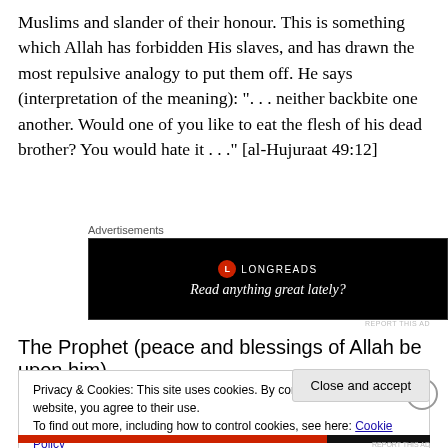Muslims and slander of their honour. This is something which Allah has forbidden His slaves, and has drawn the most repulsive analogy to put them off. He says (interpretation of the meaning): ". . . neither backbite one another. Would one of you like to eat the flesh of his dead brother? You would hate it . . ." [al-Hujuraat 49:12]
Advertisements
[Figure (other): Longreads advertisement banner with black background, red circular logo with L, text 'LONGREADS' and tagline 'Read anything great lately?']
The Prophet (peace and blessings of Allah be upon him)
Privacy & Cookies: This site uses cookies. By continuing to use this website, you agree to their use.
To find out more, including how to control cookies, see here: Cookie Policy